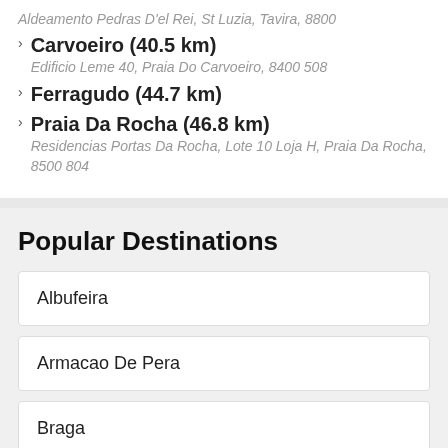Aldeamento Pedras D'el Rei, St Luzia, Tavira, 8800
Carvoeiro (40.5 km)
Edificio Leme 40, Praia Do Carvoeiro, 8400 508
Ferragudo (44.7 km)
Praia Da Rocha (46.8 km)
Residencias Portas Da Rocha, Lote 10 Loja H, Praia Da Rocha, 8500 804
Popular Destinations
Albufeira
Armacao De Pera
Braga
Carvoeiro